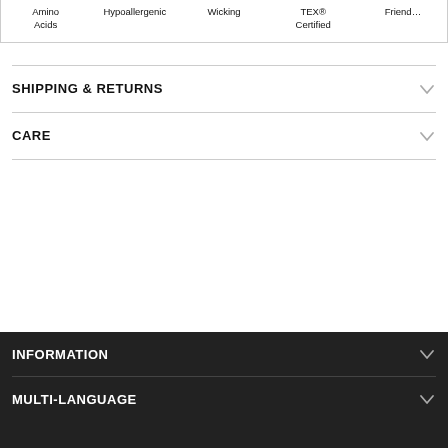| Amino Acids | Hypoallergenic | Wicking | TEX® Certified | Friend... |
| --- | --- | --- | --- | --- |
|  |
SHIPPING & RETURNS
CARE
INFORMATION
MULTI-LANGUAGE